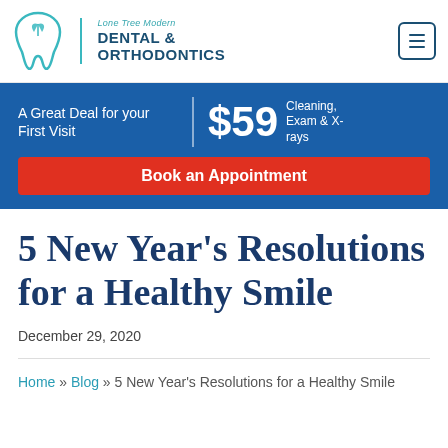[Figure (logo): Lone Tree Modern Dental & Orthodontics logo with teal tooth/leaf icon]
[Figure (infographic): Blue promotional banner: A Great Deal for your First Visit $59 Cleaning, Exam & X-rays with red Book an Appointment button]
5 New Year's Resolutions for a Healthy Smile
December 29, 2020
Home » Blog » 5 New Year's Resolutions for a Healthy Smile